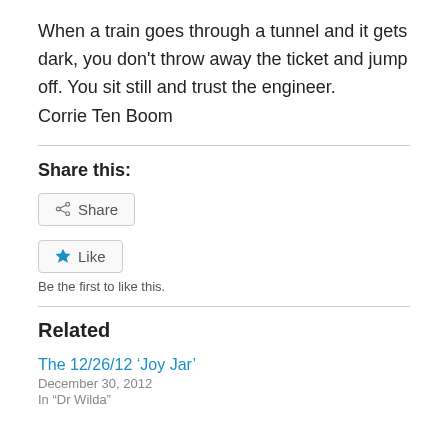When a train goes through a tunnel and it gets dark, you don't throw away the ticket and jump off. You sit still and trust the engineer.
Corrie Ten Boom
Share this:
Share
Like
Be the first to like this.
Related
The 12/26/12 ‘Joy Jar’
December 30, 2012
In “Dr Wilda”